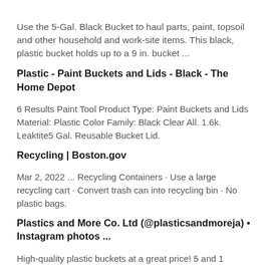Use the 5-Gal. Black Bucket to haul parts, paint, topsoil and other household and work-site items. This black, plastic bucket holds up to a 9 in. bucket ...
Plastic - Paint Buckets and Lids - Black - The Home Depot
6 Results Paint Tool Product Type: Paint Buckets and Lids Material: Plastic Color Family: Black Clear All. 1.6k. Leaktite5 Gal. Reusable Bucket Lid.
Recycling | Boston.gov
Mar 2, 2022 ... Recycling Containers · Use a large recycling cart · Convert trash can into recycling bin · No plastic bags.
Plastics and More Co. Ltd (@plasticsandmoreja) • Instagram photos ...
High-quality plastic buckets at a great price! 5 and 1